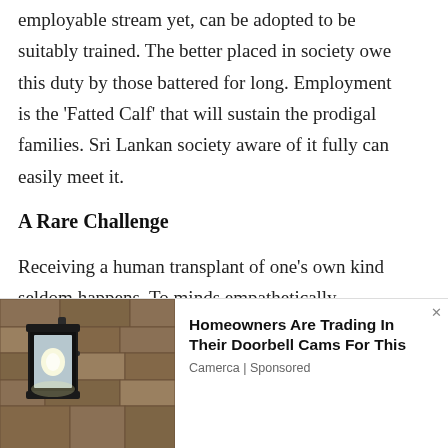employable stream yet, can be adopted to be suitably trained. The better placed in society owe this duty by those battered for long. Employment is the 'Fatted Calf' that will sustain the prodigal families. Sri Lankan society aware of it fully can easily meet it.
A Rare Challenge
Receiving a human transplant of one's own kind seldom happens. To minds empathetically conditioned, it can be a happy occasion. The writer was able to see such a happening at Trincomalee harbour in 2003. With all issues methodically attended to at
[Figure (photo): Outdoor wall lantern / light fixture mounted on stone wall, shown in advertisement]
Homeowners Are Trading In Their Doorbell Cams For This
Camerca | Sponsored